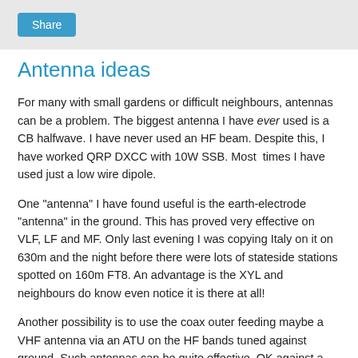Share
Antenna ideas
For many with small gardens or difficult neighbours, antennas can be a problem. The biggest antenna I have ever used is a CB halfwave. I have never used an HF beam. Despite this, I have worked QRP DXCC with 10W SSB. Most  times I have used just a low wire dipole.
One "antenna" I have found useful is the earth-electrode "antenna" in the ground. This has proved very effective on VLF, LF and MF. Only last evening I was copying Italy on it on 630m and the night before there were lots of stateside stations spotted on 160m FT8. An advantage is the XYL and neighbours do know even notice it is there at all!
Another possibility is to use the coax outer feeding maybe a VHF antenna via an ATU on the HF bands tuned against ground. Such antennas can be quite effective. OK against a beam on a tower this maybe an S-point or 2 down, but for